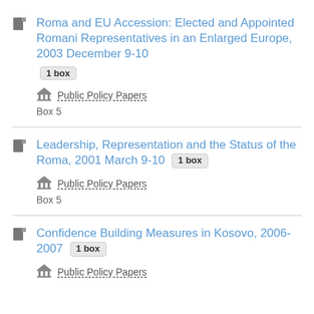Roma and EU Accession: Elected and Appointed Romani Representatives in an Enlarged Europe, 2003 December 9-10 [1 box]
Public Policy Papers
Box 5
Leadership, Representation and the Status of the Roma, 2001 March 9-10 [1 box]
Public Policy Papers
Box 5
Confidence Building Measures in Kosovo, 2006-2007 [1 box]
Public Policy Papers